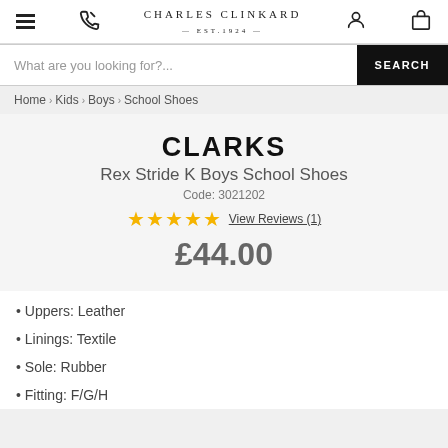CHARLES CLINKARD EST.1924
What are you looking for?...
Home > Kids > Boys > School Shoes
CLARKS
Rex Stride K Boys School Shoes
Code: 3021202
★★★★★ View Reviews (1)
£44.00
• Uppers: Leather
• Linings: Textile
• Sole: Rubber
• Fitting: F/G/H